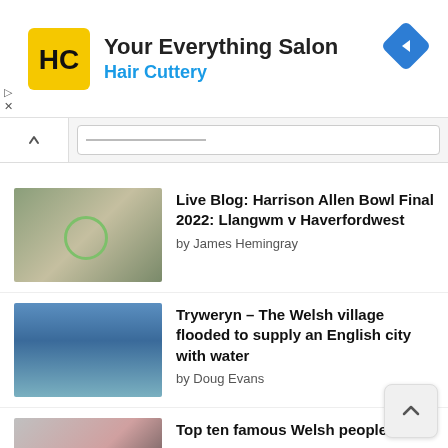[Figure (screenshot): Hair Cuttery advertisement banner with logo, title 'Your Everything Salon', subtitle 'Hair Cuttery', and a blue navigation diamond icon]
[Figure (screenshot): Browser tab bar with back arrow button and search/address bar]
Live Blog: Harrison Allen Bowl Final 2022: Llangwm v Haverfordwest by James Hemingray
Tryweryn – The Welsh village flooded to supply an English city with water by Doug Evans
Top ten famous Welsh people by Elfed Jones
Wales' longest station name: How it its name, and what it means by Doug Evans